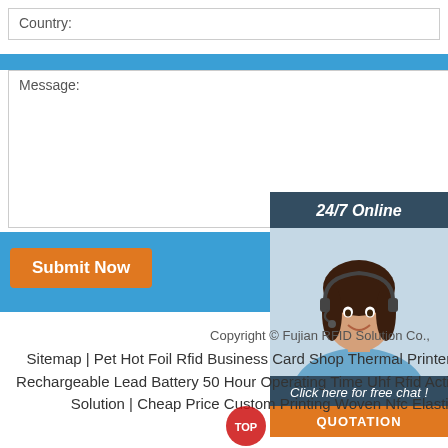Country:
Message:
Submit Now
[Figure (photo): Customer service representative woman with headset, 24/7 Online chat widget with 'Click here for free chat!' text and QUOTATION button]
Copyright © Fujian RFID Solution Co.,
Sitemap | Pet Hot Foil Rfid Business Card Shop Thermal Printer | Active Timing Systems Rechargeable Lead Battery 50 Hour Operating Time Uhf Rfid Active Reader Cycling Karting Solution | Cheap Price Custom Printing Woven Nfc Elastic Wristbands Sale